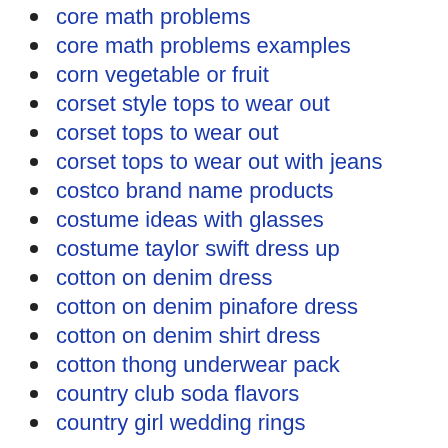core math problems
core math problems examples
corn vegetable or fruit
corset style tops to wear out
corset tops to wear out
corset tops to wear out with jeans
costco brand name products
costume ideas with glasses
costume taylor swift dress up
cotton on denim dress
cotton on denim pinafore dress
cotton on denim shirt dress
cotton thong underwear pack
country club soda flavors
country girl wedding rings